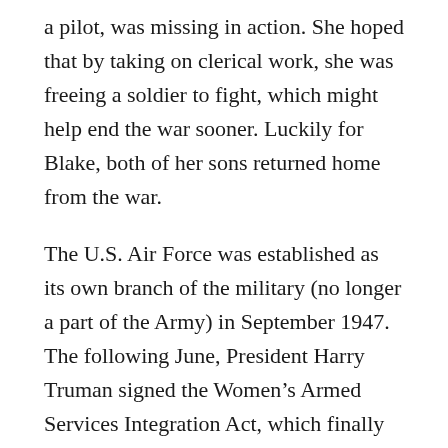a pilot, was missing in action. She hoped that by taking on clerical work, she was freeing a soldier to fight, which might help end the war sooner. Luckily for Blake, both of her sons returned home from the war.
The U.S. Air Force was established as its own branch of the military (no longer a part of the Army) in September 1947. The following June, President Harry Truman signed the Women's Armed Services Integration Act, which finally allowed women to serve as permanent members of the armed forces.
Blake was joined by 11 other women in joining the Air Force on that first day. Nearly 30 years later, in 1976, women were admitted to the military as equals to men,